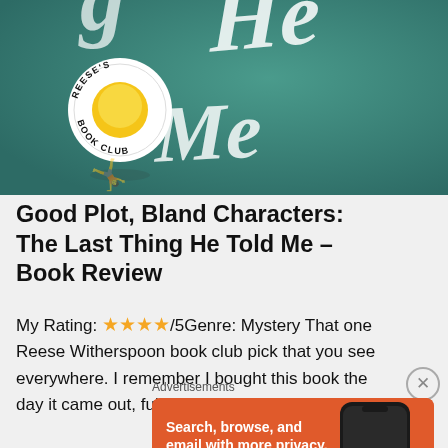[Figure (photo): Book cover of 'The Last Thing He Told Me' with Reese's Book Club badge, teal background with large white handwritten text]
Good Plot, Bland Characters: The Last Thing He Told Me – Book Review
My Rating: ★★★★/5Genre: Mystery That one Reese Witherspoon book club pick that you see everywhere. I remember I bought this book the day it came out, full
[Figure (screenshot): DuckDuckGo advertisement: Search, browse, and email with more privacy. All in One Free App. Shows a phone with DuckDuckGo app on orange background.]